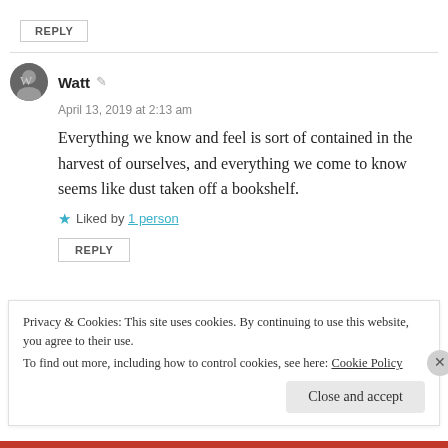REPLY
Watt
April 13, 2019 at 2:13 am
Everything we know and feel is sort of contained in the harvest of ourselves, and everything we come to know seems like dust taken off a bookshelf.
Liked by 1 person
REPLY
Privacy & Cookies: This site uses cookies. By continuing to use this website, you agree to their use. To find out more, including how to control cookies, see here: Cookie Policy
Close and accept